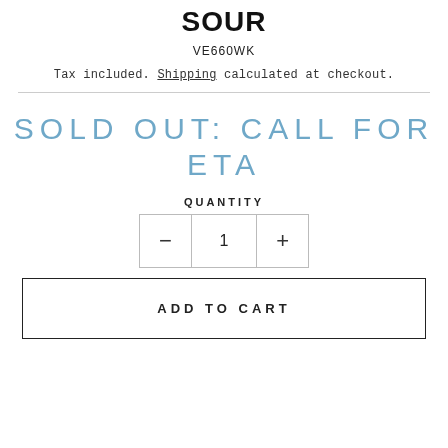SOUR
VE660WK
Tax included. Shipping calculated at checkout.
SOLD OUT: CALL FOR ETA
QUANTITY
- 1 +
ADD TO CART